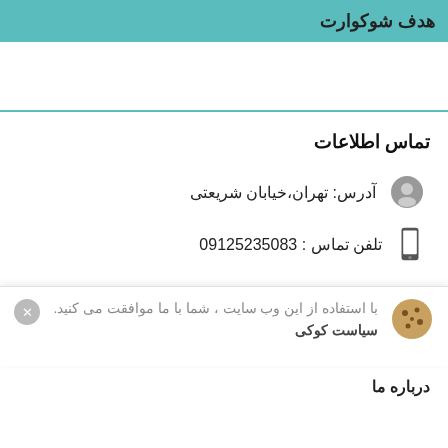هدف شوکوارت
تماس اطلاعات
آدرس: تهران،خیابان شریعتی
تلفن تماس : 09125235083
Gmail@shokoartco.com
با استفاده از این وب سایت ، شما با ما موافقت می کنید. سیاست کوکی